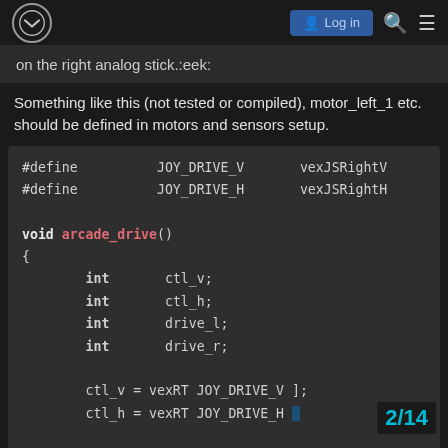Log in
on the right analog stick.:eek:
Something like this (not tested or compiled), motor_left_1 etc. should be defined in motors and sensors setup.
#define   JOY_DRIVE_V   vexJSRightV
#define   JOY_DRIVE_H   vexJSRightH

void arcade_drive()
{
    int   ctl_v;
    int   ctl_h;
    int   drive_l;
    int   drive_r;

    ctl_v = vexRT JOY_DRIVE_V ];
    ctl_h = vexRT JOY_DRIVE_H ]

// Create drive for left s
2/14